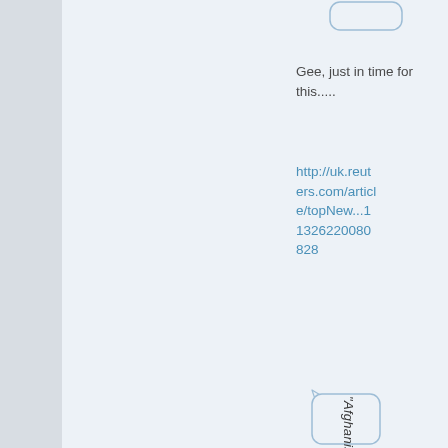Gee, just in time for this.....
http://uk.reuters.com/article/topNew...11326220080828
[Figure (illustration): Partial speech bubble at top, and a rotated speech bubble containing italic text reading: "Afghanistan forces took o..." The bubble is oriented vertically with text running downward.]